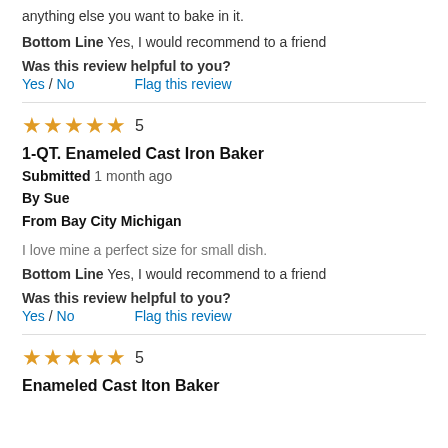anything else you want to bake in it.
Bottom Line Yes, I would recommend to a friend
Was this review helpful to you? Yes / No   Flag this review
★★★★★ 5
1-QT. Enameled Cast Iron Baker
Submitted 1 month ago
By Sue
From Bay City Michigan
I love mine a perfect size for small dish.
Bottom Line Yes, I would recommend to a friend
Was this review helpful to you? Yes / No   Flag this review
★★★★★ 5
Enameled Cast Iton Baker